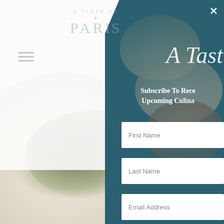[Figure (screenshot): Website screenshot showing 'A Taste of Paris' restaurant/culinary website with a modal subscription popup overlay. Left side shows the main website with logo, hamburger menu, and a food photo (salad with dark mushrooms and herbs on a plate). Right side shows a dark teal modal overlay with cursive script 'A Tast...' heading, 'Subscribe To Rece... Upcoming Culina...' text, a close X button, and three input fields: First Name, Last Name, Email Address.]